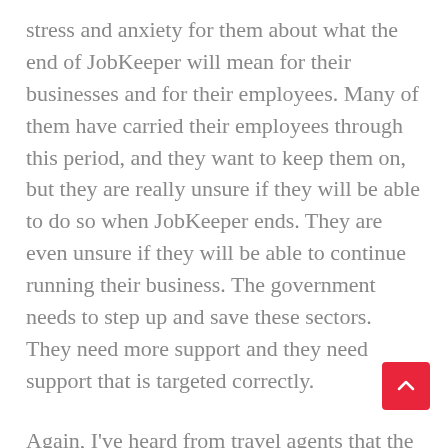stress and anxiety for them about what the end of JobKeeper will mean for their businesses and for their employees. Many of them have carried their employees through this period, and they want to keep them on, but they are really unsure if they will be able to do so when JobKeeper ends. They are even unsure if they will be able to continue running their business. The government needs to step up and save these sectors. They need more support and they need support that is targeted correctly.
Again, I've heard from travel agents that the targeted support the government has provided there doesn't actually match the reality of how their businesses operate. We know that the half